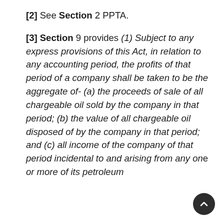[2] See Section 2 PPTA.
[3] Section 9 provides (1) Subject to any express provisions of this Act, in relation to any accounting period, the profits of that period of a company shall be taken to be the aggregate of- (a) the proceeds of sale of all chargeable oil sold by the company in that period; (b) the value of all chargeable oil disposed of by the company in that period; and (c) all income of the company of that period incidental to and arising from any one or more of its petroleum